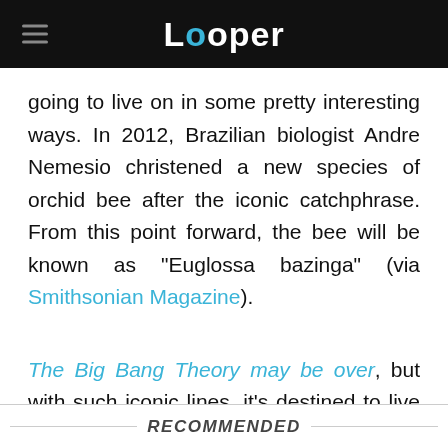Looper
going to live on in some pretty interesting ways. In 2012, Brazilian biologist Andre Nemesio christened a new species of orchid bee after the iconic catchphrase. From this point forward, the bee will be known as "Euglossa bazinga" (via Smithsonian Magazine).
The Big Bang Theory may be over, but with such iconic lines, it's destined to live on forever in the hearts and minds of fans.
RECOMMENDED